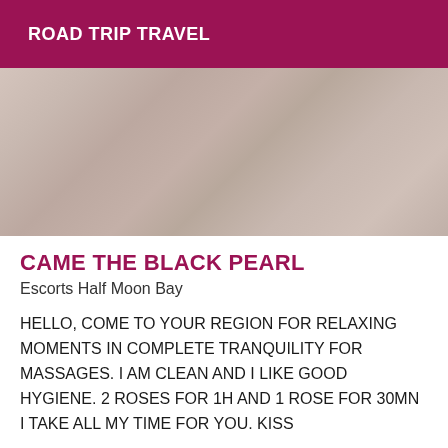ROAD TRIP TRAVEL
[Figure (photo): Close-up photo of what appears to be a light-colored surface, possibly sand dunes or fabric, with soft gradients of pink and beige tones.]
CAME THE BLACK PEARL
Escorts Half Moon Bay
HELLO, COME TO YOUR REGION FOR RELAXING MOMENTS IN COMPLETE TRANQUILITY FOR MASSAGES. I AM CLEAN AND I LIKE GOOD HYGIENE. 2 ROSES FOR 1H AND 1 ROSE FOR 30MN I TAKE ALL MY TIME FOR YOU. KISS
[Figure (photo): Partial photo showing a dark car exterior on the left, a street with greenery and buildings in the center, and blue sky on the right.]